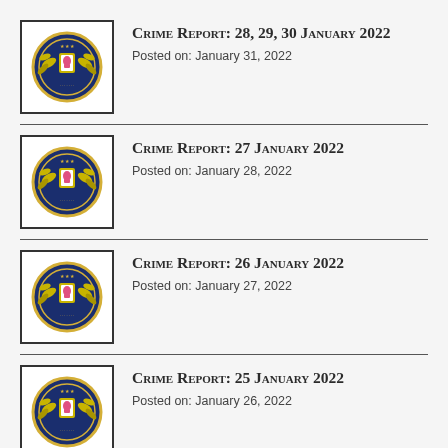Crime Report: 28, 29, 30 January 2022
Posted on: January 31, 2022
Crime Report: 27 January 2022
Posted on: January 28, 2022
Crime Report: 26 January 2022
Posted on: January 27, 2022
Crime Report: 25 January 2022
Posted on: January 26, 2022
Crime Report: 24 January 2022
Posted on: January 25, 2022
Crime Report: 20, 21, 22, 23…